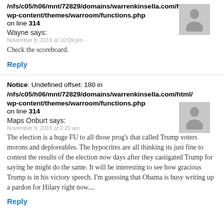/nfs/c05/h06/mnt/72829/domains/warrenkinsella.com/html/wp-content/themes/warroom/functions.php on line 314
Wayne says:
November 8, 2016 at 10:09 pm
Check the scoreboard.
Reply
Notice: Undefined offset: 180 in /nfs/c05/h06/mnt/72829/domains/warrenkinsella.com/html/wp-content/themes/warroom/functions.php on line 314
Maps Onburt says:
November 9, 2016 at 2:20 am
The election is a huge FU to all those prog's that called Trump voters morons and deploreables. The hypocrites are all thinking its just fine to contest the results of the election now days after they castigated Trump for saying he might do the same. It will be interesting to see how gracious Trump is in his victory speech. I'm guessing that Obama is busy writing up a pardon for Hilary right now....
Reply